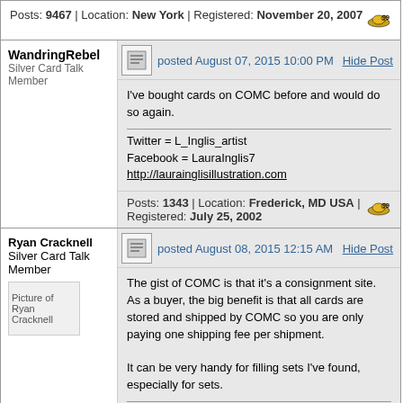Posts: 9467 | Location: New York | Registered: November 20, 2007
WandringRebel
Silver Card Talk Member
posted August 07, 2015 10:00 PM
Hide Post
I've bought cards on COMC before and would do so again.
Twitter = L_Inglis_artist
Facebook = LauraInglis7
http://laurainglisillustration.com
Posts: 1343 | Location: Frederick, MD USA | Registered: July 25, 2002
Ryan Cracknell
Silver Card Talk Member
posted August 08, 2015 12:15 AM
Hide Post
The gist of COMC is that it's a consignment site. As a buyer, the big benefit is that all cards are stored and shipped by COMC so you are only paying one shipping fee per shipment.

It can be very handy for filling sets I've found, especially for sets.
Ryan Cracknell
http://www.tradercracks.com

Find me on: